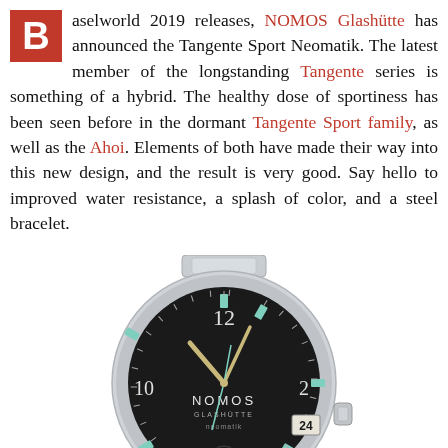Baselworld 2019 releases, NOMOS Glashütte has announced the Tangente Sport Neomatik. The latest member of the longstanding Tangente series is something of a hybrid. The healthy dose of sportiness has been seen before in the dormant Tangente Sport family, as well as the Ahoi. Elements of both have made their way into this new design, and the result is very good. Say hello to improved water resistance, a splash of color, and a steel bracelet.
[Figure (photo): NOMOS Glashütte Tangente Sport Neomatik watch with black dial, teal/green hour markers and hands, showing 12 at top, 10 and 2 numerals, date window at 3 o'clock showing 24, NOMOS Glashütte neomatik text on dial, steel bracelet visible at top, crown visible at right.]